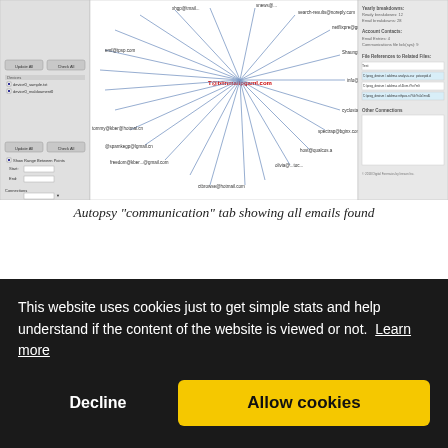[Figure (screenshot): Autopsy software communication tab showing a network graph of email connections radiating from a central node (T@blinmailpgaml.com), with panel on the left showing checkboxes and options, and right panel showing account contact details and file references.]
Autopsy "communication" tab showing all emails found
Create a new File type
...the website is viewed or not.
This website uses cookies just to get simple stats and help understand if the content of the website is viewed or not.  Learn more